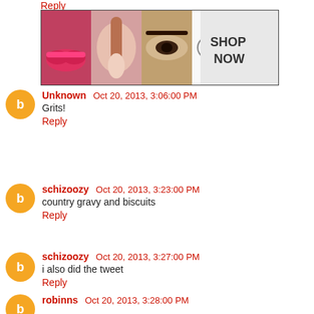Reply
[Figure (photo): ULTA beauty advertisement banner with makeup images and 'SHOP NOW' text]
Unknown  Oct 20, 2013, 3:06:00 PM
Grits!
Reply
schizoozy  Oct 20, 2013, 3:23:00 PM
country gravy and biscuits
Reply
schizoozy  Oct 20, 2013, 3:27:00 PM
i also did the tweet
Reply
robinns  Oct 20, 2013, 3:28:00 PM